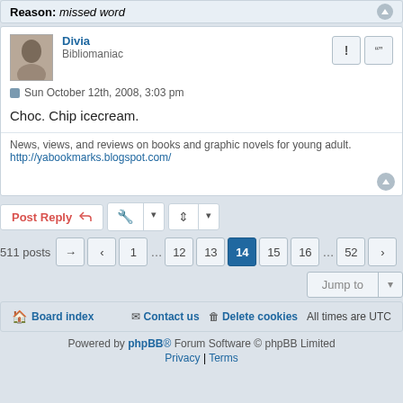Reason: missed word
Divia
Bibliomaniac
Sun October 12th, 2008, 3:03 pm
Choc. Chip icecream.
News, views, and reviews on books and graphic novels for young adult.
http://yabookmarks.blogspot.com/
Post Reply
511 posts  1 … 12 13 14 15 16 … 52
Jump to
Board index   Contact us   Delete cookies   All times are UTC
Powered by phpBB® Forum Software © phpBB Limited
Privacy | Terms